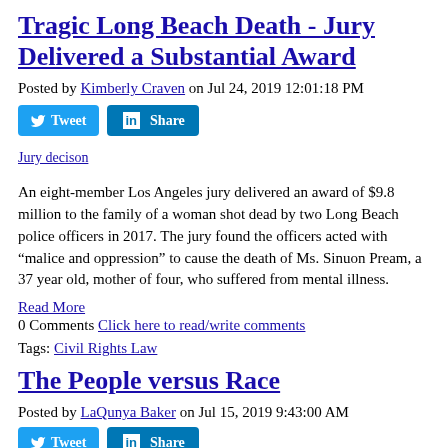Tragic Long Beach Death - Jury Delivered a Substantial Award
Posted by Kimberly Craven on Jul 24, 2019 12:01:18 PM
[Figure (other): Tweet and Share social media buttons]
[Figure (other): Jury decision image link placeholder]
An eight-member Los Angeles jury delivered an award of $9.8 million to the family of a woman shot dead by two Long Beach police officers in 2017. The jury found the officers acted with “malice and oppression” to cause the death of Ms. Sinuon Pream, a 37 year old, mother of four, who suffered from mental illness.
Read More
0 Comments Click here to read/write comments
Tags: Civil Rights Law
The People versus Race
Posted by LaQunya Baker on Jul 15, 2019 9:43:00 AM